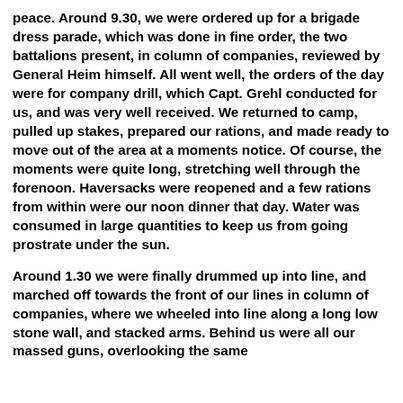peace. Around 9.30, we were ordered up for a brigade dress parade, which was done in fine order, the two battalions present, in column of companies, reviewed by General Heim himself. All went well, the orders of the day were for company drill, which Capt. Grehl conducted for us, and was very well received. We returned to camp, pulled up stakes, prepared our rations, and made ready to move out of the area at a moments notice. Of course, the moments were quite long, stretching well through the forenoon. Haversacks were reopened and a few rations from within were our noon dinner that day. Water was consumed in large quantities to keep us from going prostrate under the sun.
Around 1.30 we were finally drummed up into line, and marched off towards the front of our lines in column of companies, where we wheeled into line along a long low stone wall, and stacked arms. Behind us were all our massed guns, overlooking the same area of ground, covering the right reverse of our